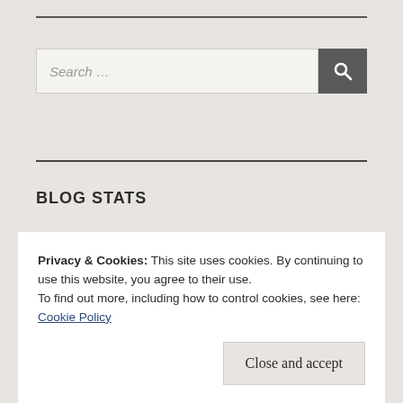[Figure (other): Search bar with text input field showing 'Search ...' placeholder and a dark search button with magnifying glass icon]
BLOG STATS
70,770 hits
Privacy & Cookies: This site uses cookies. By continuing to use this website, you agree to their use.
To find out more, including how to control cookies, see here: Cookie Policy